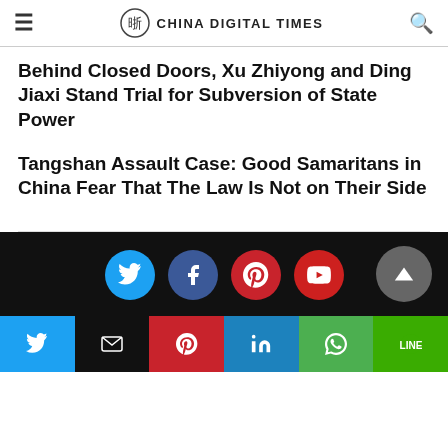CHINA DIGITAL TIMES
Behind Closed Doors, Xu Zhiyong and Ding Jiaxi Stand Trial for Subversion of State Power
Tangshan Assault Case: Good Samaritans in China Fear That The Law Is Not on Their Side
[Figure (infographic): Black footer with social media icon buttons: Twitter (blue), Facebook (dark blue), Pinterest (red), YouTube (red), and a scroll-to-top arrow button (grey)]
[Figure (infographic): Share bar with six buttons: Twitter (blue), Email (black), Pinterest (red), LinkedIn (blue), WhatsApp (green), LINE (green)]